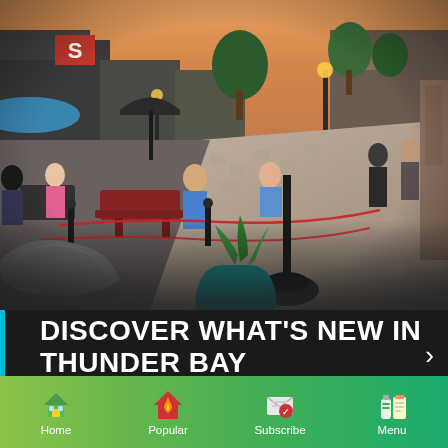[Figure (photo): Outdoor patio dining scene on a cobblestone pedestrian street in Thunder Bay. People are seated at red wooden picnic tables behind red rope barriers under café umbrellas. Evening warm light, trees and buildings visible in background. A large teal planter and black patio heater base are in the foreground.]
DISCOVER WHAT'S NEW IN THUNDER BAY
From rainbow hot dogs to a massive patio
[Figure (infographic): Bottom navigation bar with four icons: Home (green house with yellow door), Popular (red flame/house), Subscribe (envelope with document), Menu (bottle and notepad). Green gradient background.]